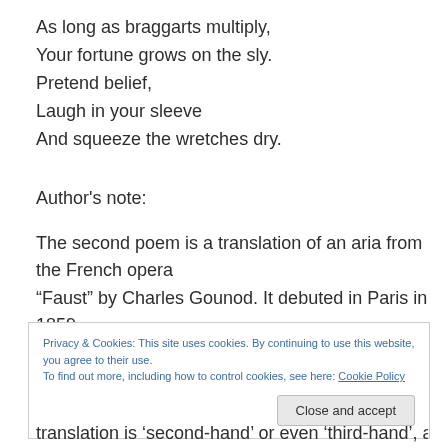As long as braggarts multiply,
Your fortune grows on the sly.
Pretend belief,
Laugh in your sleeve
And squeeze the wretches dry.
Author's note:
The second poem is a translation of an aria from the French opera “Faust” by Charles Gounod. It debuted in Paris in 1859.
Privacy & Cookies: This site uses cookies. By continuing to use this website, you agree to their use.
To find out more, including how to control cookies, see here: Cookie Policy
translation is ‘second-hand’ or even ‘third-hand’, as